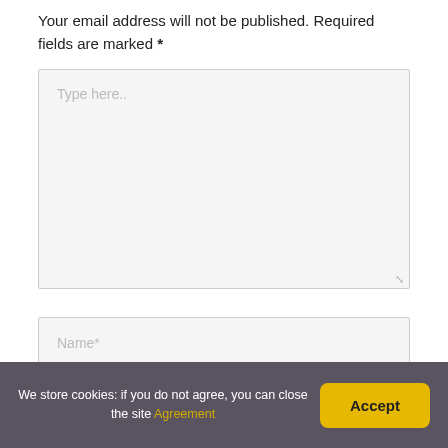Your email address will not be published. Required fields are marked *
[Figure (screenshot): Large textarea form field with placeholder text 'Type here..' and a resize handle at the bottom right corner]
[Figure (screenshot): Single-line text input field with placeholder text 'Name*']
We store cookies: if you do not agree, you can close the site Agreement